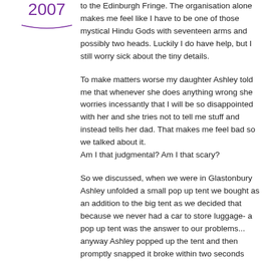2007
to the Edinburgh Fringe. The organisation alone makes me feel like I have to be one of those mystical Hindu Gods with seventeen arms and possibly two heads. Luckily I do have help, but I still worry sick about the tiny details.
To make matters worse my daughter Ashley told me that whenever she does anything wrong she worries incessantly that I will be so disappointed with her and she tries not to tell me stuff and instead tells her dad. That makes me feel bad so we talked about it.
Am I that judgmental? Am I that scary?
So we discussed, when we were in Glastonbury Ashley unfolded a small pop up tent we bought as an addition to the big tent as we decided that because we never had a car to store luggage- a pop up tent was the answer to our problems... anyway Ashley popped up the tent and then promptly snapped it broke within two seconds